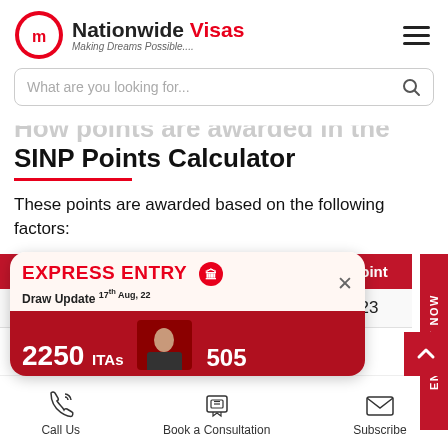[Figure (logo): Nationwide Visas logo with red circle and 'Making Dreams Possible...' tagline]
What are you looking for...
How points are awarded in the SINP Points Calculator
These points are awarded based on the following factors:
|  | Point |
| --- | --- |
| ng | 23 |
[Figure (screenshot): Express Entry Draw Update popup: 17th Aug, 22 — 2250 ITAs, score 505]
Call Us   Book a Consultation   Subscribe